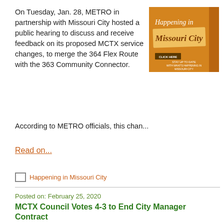On Tuesday, Jan. 28, METRO in partnership with Missouri City hosted a public hearing to discuss and receive feedback on its proposed MCTX service changes, to merge the 364 Flex Route with the 363 Community Connector.
[Figure (other): Orange badge graphic reading 'Happening in Missouri City' with 'LATEST COMMUNITY NEWS' text on side]
According to METRO officials, this chan...
Read on...
Happening in Missouri City
Posted on: February 25, 2020
MCTX Council Votes 4-3 to End City Manager Contract
At their Monday, Feb. 24 Special Meeting, Missouri City Councilmembers voted 4-3 to dissolve the employment contract of City Manager Anthony J. Snipes, who had served as the City's
[Figure (other): Orange badge graphic reading 'Happening in Missouri City' with 'LATEST COMMUNITY NEWS' text on side]